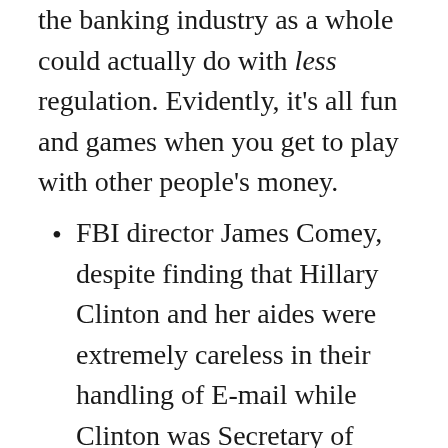the banking industry as a whole could actually do with less regulation. Evidently, it's all fun and games when you get to play with other people's money.
FBI director James Comey, despite finding that Hillary Clinton and her aides were extremely careless in their handling of E-mail while Clinton was Secretary of State, that Clinton should've known certain E-mails were classified and didn't belong on an unsecured server in the first place, that the State Department was generally lacking in security protocol for classified E-mails, and that Hillary used multiple unsecured devices in locations where American